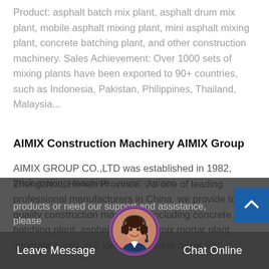Product: asphalt batch mix plant, asphalt drum mix plant, mobile asphalt mixing plant, mini asphalt mixing plant, concrete batching plant, and other construction machinery. Sales Achievement: Over 1000 sets of mixing plants have been exported to 90+ countries, such as Indonesia, Pakistan, Philippines, Thailand, Malaysia...
AIMIX Construction Machinery AIMIX Group
AIMIX GROUP CO.,LTD was established in 1982, Zhengzhou, Henan Province. As one of leading professional manufacturers in China, we provide top quality construction machinery, including concrete batching plant, asphalt plant, dry mix mortar plant, concrete pump, self loading concrete mixer truc...
brick making machine...rushing plant. ...products or need our support and assistance, please
Leave Message   Chat Online